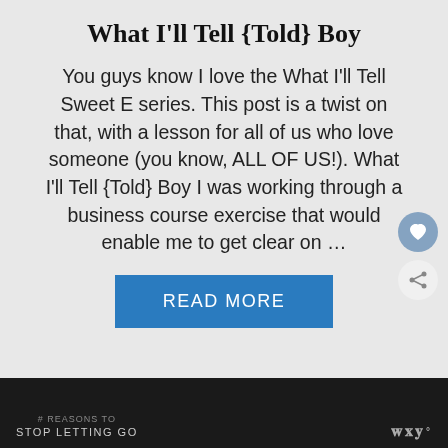What I'll Tell {Told} Boy
You guys know I love the What I'll Tell Sweet E series. This post is a twist on that, with a lesson for all of us who love someone (you know, ALL OF US!). What I'll Tell {Told} Boy I was working through a business course exercise that would enable me to get clear on …
READ MORE
# REASONS TO STOP LETTING GO